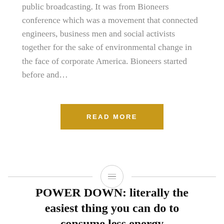public broadcasting. It was from Bioneers conference which was a movement that connected engineers, business men and social activists together for the sake of environmental change in the face of corporate America. Bioneers started before and...
READ MORE
[Figure (other): Horizontal divider line with a centered circle containing a lines/menu icon]
POWER DOWN: literally the easiest thing you can do to consume less energy